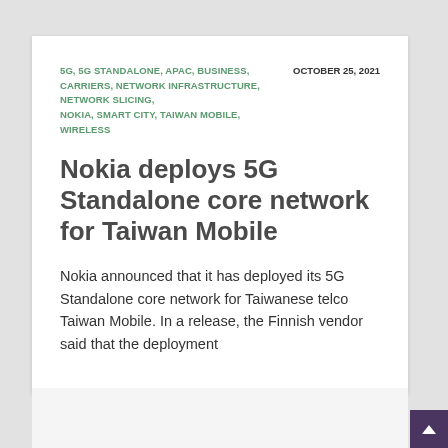5G, 5G STANDALONE, APAC, BUSINESS, CARRIERS, NETWORK INFRASTRUCTURE, NETWORK SLICING, NOKIA, SMART CITY, TAIWAN MOBILE, WIRELESS       OCTOBER 25, 2021
Nokia deploys 5G Standalone core network for Taiwan Mobile
Nokia announced that it has deployed its 5G Standalone core network for Taiwanese telco Taiwan Mobile. In a release, the Finnish vendor said that the deployment